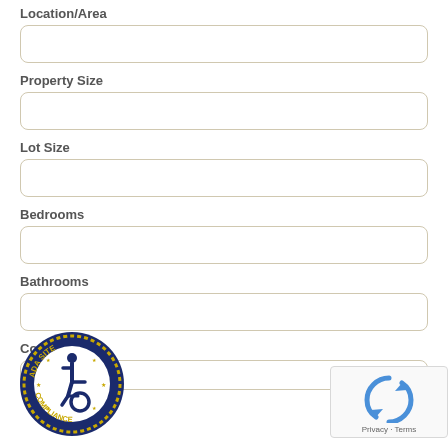Location/Area
Property Size
Lot Size
Bedrooms
Bathrooms
Co
[Figure (logo): ADA Site Compliance circular badge with wheelchair accessibility icon, navy blue and gold border with stars]
[Figure (logo): Google reCAPTCHA widget with spinning arrows icon and Privacy - Terms text]